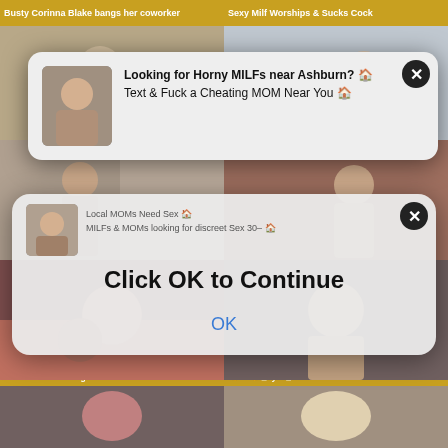[Figure (screenshot): Adult video website screenshot with thumbnail grid showing video titles. Two popup overlays visible: first says 'Looking for Horny MILFs near Ashburn? Text & Fuck a Cheating MOM Near You', second overlay says 'Click OK to Continue' with an OK button. Video thumbnails include: 'Busty Corinna Blake bangs her coworker', 'Sexy Milf Worships & Sucks Cock', 'Do The Wife - Swinger Housewives' (2020-10-10, 8:07, DOTHEWIFE), and others with dates 2020-10-10 13:31.]